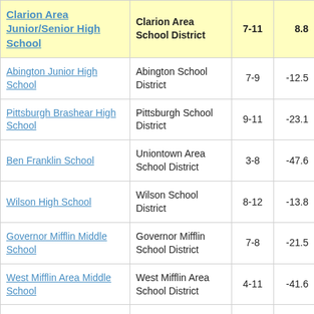| School | District | Grades | Score |
| --- | --- | --- | --- |
| Clarion Area Junior/Senior High School | Clarion Area School District | 7-11 | 8.8 |
| Abington Junior High School | Abington School District | 7-9 | -12.5 |
| Pittsburgh Brashear High School | Pittsburgh School District | 9-11 | -23.1 |
| Ben Franklin School | Uniontown Area School District | 3-8 | -47.6 |
| Wilson High School | Wilson School District | 8-12 | -13.8 |
| Governor Mifflin Middle School | Governor Mifflin School District | 7-8 | -21.5 |
| West Mifflin Area Middle School | West Mifflin Area School District | 4-11 | -41.6 |